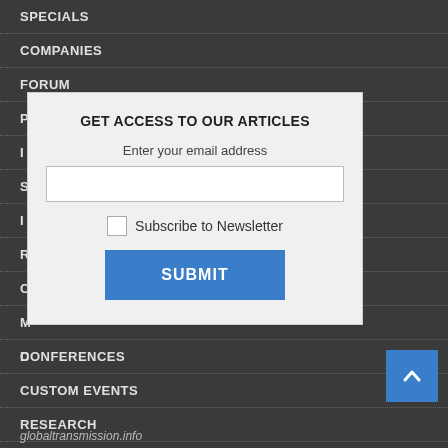SPECIALS
COMPANIES
FORUM
[Figure (screenshot): Modal dialog overlay with title 'GET ACCESS TO OUR ARTICLES', email input field, Subscribe to Newsletter checkbox, and SUBMIT button]
CONFERENCES
CUSTOM EVENTS
RESEARCH
globaltransmission.info